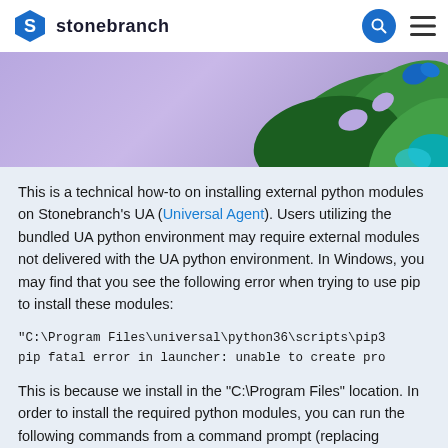stonebranch
[Figure (illustration): Purple/lavender banner with tropical green monstera leaves and a blue butterfly in the upper right corner]
This is a technical how-to on installing external python modules on Stonebranch's UA (Universal Agent). Users utilizing the bundled UA python environment may require external modules not delivered with the UA python environment. In Windows, you may find that you see the following error when trying to use pip to install these modules:
This is because we install in the "C:\Program Files" location. In order to install the required python modules, you can run the following commands from a command prompt (replacing "requests" with the required module name):